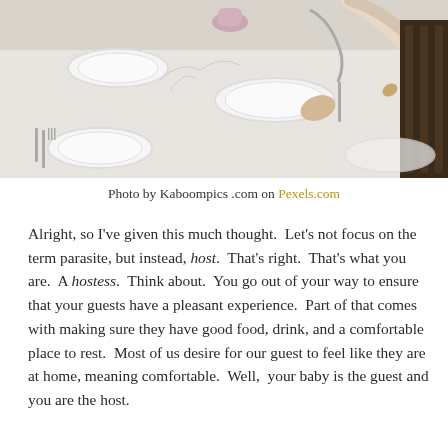[Figure (photo): A person setting a formal dining table with white plates, silverware, and a white tablecloth. A dark wooden chair is visible on the right.]
Photo by Kaboompics .com on Pexels.com
Alright, so I've given this much thought.  Let's not focus on the term parasite, but instead, host.  That's right.  That's what you are.  A hostess.  Think about.  You go out of your way to ensure that your guests have a pleasant experience.  Part of that comes with making sure they have good food, drink, and a comfortable place to rest.  Most of us desire for our guest to feel like they are at home, meaning comfortable.  Well,  your baby is the guest and you are the host.